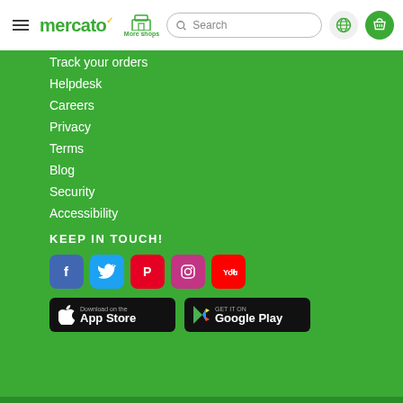mercato — More shops — Search — Globe — Basket
Track your orders
Helpdesk
Careers
Privacy
Terms
Blog
Security
Accessibility
KEEP IN TOUCH!
[Figure (logo): Social media icons: Facebook, Twitter, Pinterest, Instagram, YouTube]
[Figure (logo): App Store and Google Play download buttons]